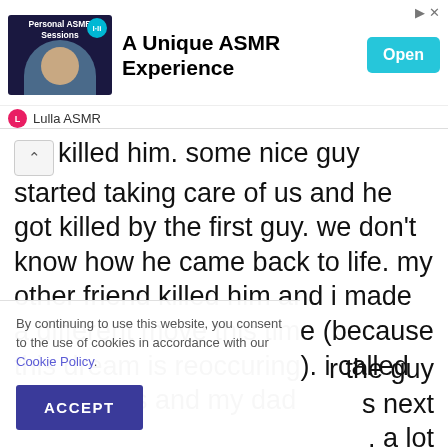[Figure (screenshot): Ad banner for 'A Unique ASMR Experience' by Lulla ASMR with thumbnail image, Open button, and ad icons]
killed him. some nice guy started taking care of us and he got killed by the first guy. we don't know how he came back to life. my other friend killed him and i made a different move this time (because this dream is reoccuring). i called my parents and my dad
r the guy s next . a lot er a lot
By continuing to use this website, you consent to the use of cookies in accordance with our Cookie Policy.
ACCEPT